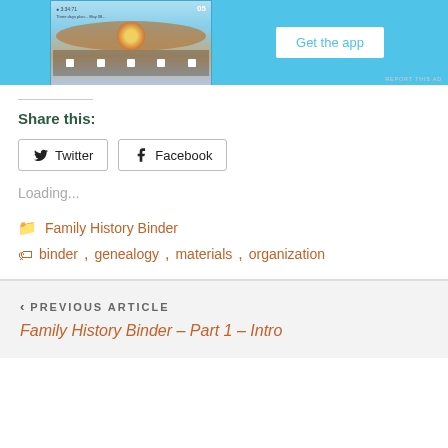[Figure (screenshot): App advertisement banner with phone screenshot on left and 'Get the app' button on right, on a light blue background]
REPORT THIS AD
Share this:
Twitter  Facebook
Loading...
Family History Binder
binder, genealogy, materials, organization
PREVIOUS ARTICLE
Family History Binder – Part 1 – Intro